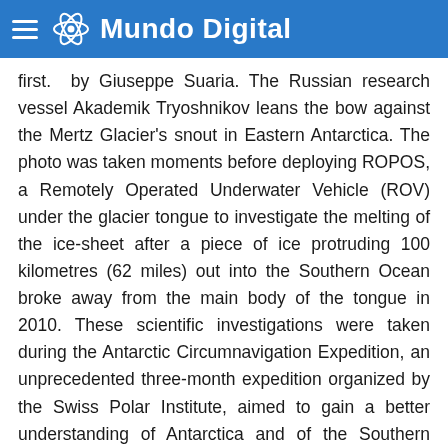Mundo Digital
first.  by Giuseppe Suaria. The Russian research vessel Akademik Tryoshnikov leans the bow against the Mertz Glacier's snout in Eastern Antarctica. The photo was taken moments before deploying ROPOS, a Remotely Operated Underwater Vehicle (ROV) under the glacier tongue to investigate the melting of the ice-sheet after a piece of ice protruding 100 kilometres (62 miles) out into the Southern Ocean broke away from the main body of the tongue in 2010. These scientific investigations were taken during the Antarctic Circumnavigation Expedition, an unprecedented three-month expedition organized by the Swiss Polar Institute, aimed to gain a better understanding of Antarctica and of the Southern Ocean as a whole. 22 scientific projects and more than 150 researchers were